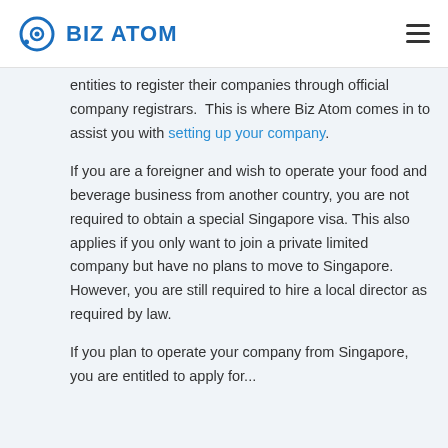BIZ ATOM
entities to register their companies through official company registrars.  This is where Biz Atom comes in to assist you with setting up your company.
If you are a foreigner and wish to operate your food and beverage business from another country, you are not required to obtain a special Singapore visa. This also applies if you only want to join a private limited company but have no plans to move to Singapore. However, you are still required to hire a local director as required by law.
If you plan to operate your company from Singapore, you are entitled to apply for...